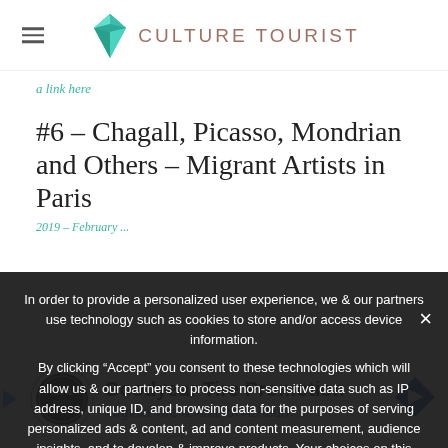CULTURE TOURIST
a link here
#6 – Chagall, Picasso, Mondrian and Others – Migrant Artists in Paris
2019 – February ...
In order to provide a personalized user experience, we & our partners use technology such as cookies to store and/or access device information.
By clicking “Accept” you consent to these technologies which will allow us & our partners to process non-sensitive data such as IP address, unique ID, and browsing data for the purposes of serving personalized ads & content, ad and content measurement, audience insights, and to develop & improve products. Your choices on this
Goodyear Tire Promotion
Virginia Tire & Auto of Ashburn ...